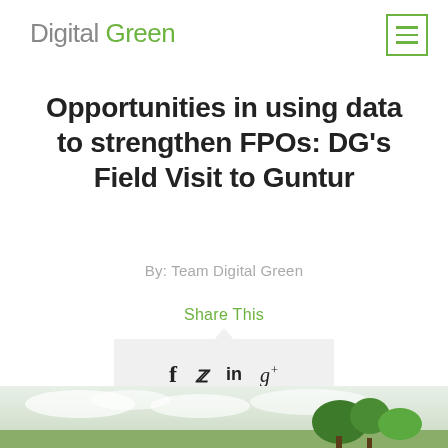Digital Green
Opportunities in using data to strengthen FPOs: DG's Field Visit to Guntur
By: Team Digital Green
Share This
[Figure (other): Social sharing icons: Facebook (f), Twitter (bird/italic), LinkedIn (in), Google+ (g+) in a light grey popup box with upward pointing triangle]
[Figure (photo): Landscape photo at bottom showing trees and cloudy sky]